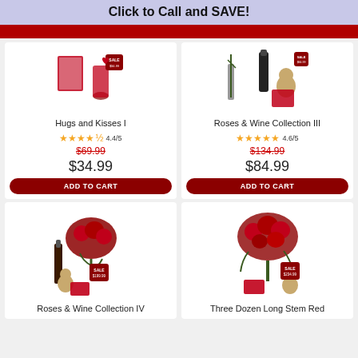Click to Call and SAVE!
[Figure (photo): Product image for Hugs and Kisses I with card and red vase, sale tag]
Hugs and Kisses I
4.4/5 stars, was $69.99, now $34.99
[Figure (photo): Product image for Roses & Wine Collection III with wine bottle, bear, and card]
Roses & Wine Collection III
4.6/5 stars, was $134.99, now $84.99
[Figure (photo): Product image for Roses & Wine Collection IV with roses, wine bottle, bear, chocolate]
Roses & Wine Collection IV
[Figure (photo): Product image for Three Dozen Long Stem Red roses arrangement with bear and card]
Three Dozen Long Stem Red